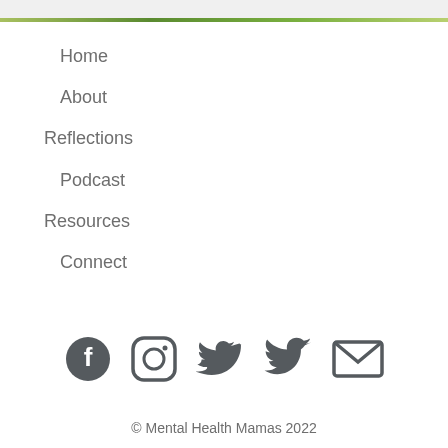Home
About
Reflections
Podcast
Resources
Connect
[Figure (infographic): Social media icons: Facebook, Instagram, Twitter, Email]
© Mental Health Mamas 2022